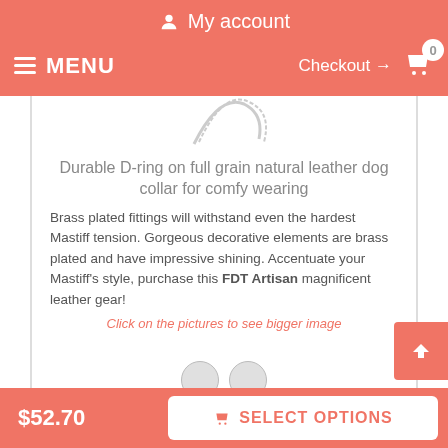My account
MENU  Checkout → 0
[Figure (illustration): Partial decorative curved line/D-ring icon in gray]
Durable D-ring on full grain natural leather dog collar for comfy wearing
Brass plated fittings will withstand even the hardest Mastiff tension. Gorgeous decorative elements are brass plated and have impressive shining. Accentuate your Mastiff's style, purchase this FDT Artisan magnificent leather gear!
Click on the pictures to see bigger image
[Figure (illustration): Two small thumbnail product images at the bottom]
$52.70
SELECT OPTIONS